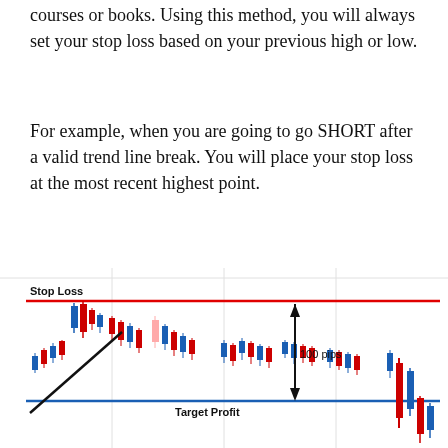courses or books. Using this method, you will always set your stop loss based on your previous high or low.
For example, when you are going to go SHORT after a valid trend line break. You will place your stop loss at the most recent highest point.
[Figure (illustration): Candlestick chart showing a SHORT trade setup with a red horizontal Stop Loss line at the top, a blue horizontal Target Profit line at the bottom, a downward arrow labeled '100 pips' between the two lines, and a diagonal trend line break. Candlesticks show a downtrend from left to right.]